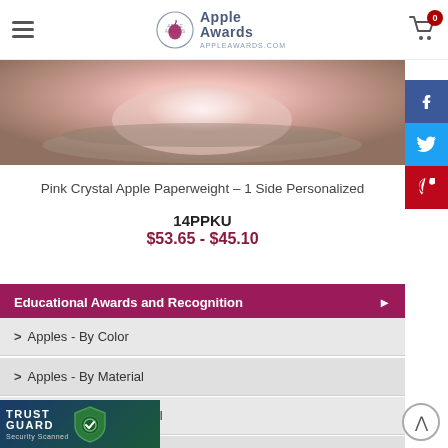Apple Awards - APPLEAWARDS.COM
[Figure (photo): Pink crystal apple paperweight product image - close-up showing pink/rose crystal glass apple shape on surface]
Pink Crystal Apple Paperweight – 1 Side Personalized
14PPKU
$53.65 - $45.10
Educational Awards and Recognition
Apples - By Color
Apples - By Material
Clocks - Desk & Mantel
wards